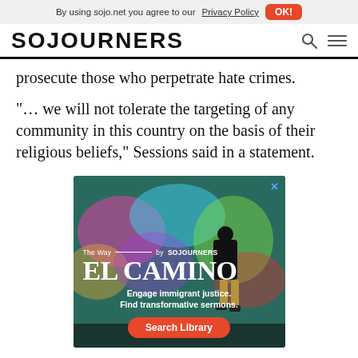By using sojo.net you agree to our Privacy Policy  OK!
SOJOURNERS
prosecute those who perpetrate hate crimes.
“… we will not tolerate the targeting of any community in this country on the basis of their religious beliefs,” Sessions said in a statement.
[Figure (illustration): Advertisement for Sojourners 'El Camino' newsletter. Background shows a person walking past graffiti wall. Text reads: The Way by SOJOURNERS, EL CAMINO, Engage immigrant justice. Find transformative sermons. Search Library button.]